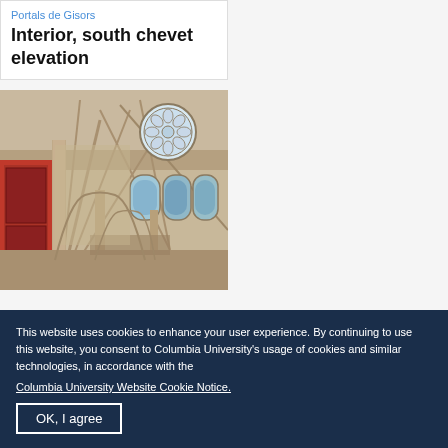Portals de Gisors
Interior, south chevet elevation
[Figure (photo): Interior photograph of a Gothic church showing stone arched vaulting, a large rose window with stained glass at the top, pointed arch windows with stained glass below, and a red panel or artwork visible on the left side.]
This website uses cookies to enhance your user experience. By continuing to use this website, you consent to Columbia University's usage of cookies and similar technologies, in accordance with the
Columbia University Website Cookie Notice.
OK, I agree